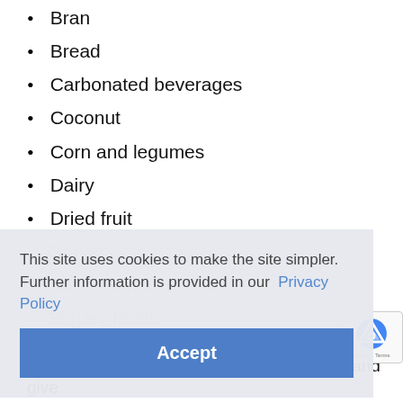Bran
Bread
Carbonated beverages
Coconut
Corn and legumes
Dairy
Dried fruit
Gravel (faded/obscured)
Skins from fresh fruit
Sugary foods
This site uses cookies to make the site simpler. Further information is provided in our Privacy Policy
Replace desserts with fresh fruit or sorbet, and give